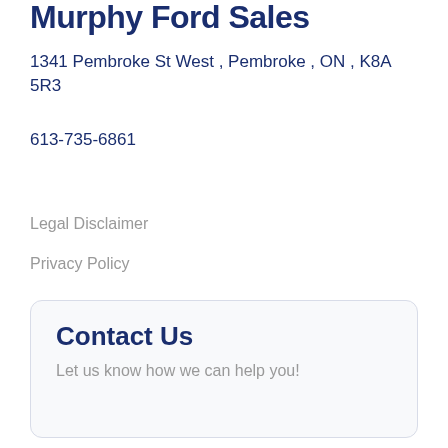Murphy Ford Sales
1341 Pembroke St West , Pembroke , ON , K8A 5R3
613-735-6861
Legal Disclaimer
Privacy Policy
Contact Us
Let us know how we can help you!